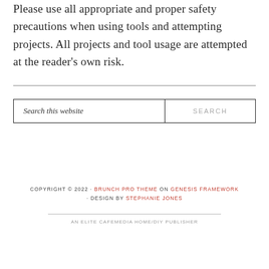Please use all appropriate and proper safety precautions when using tools and attempting projects. All projects and tool usage are attempted at the reader's own risk.
COPYRIGHT © 2022 · BRUNCH PRO THEME ON GENESIS FRAMEWORK · DESIGN BY STEPHANIE JONES
AN ELITE CAFEMEDIA HOME/DIY PUBLISHER